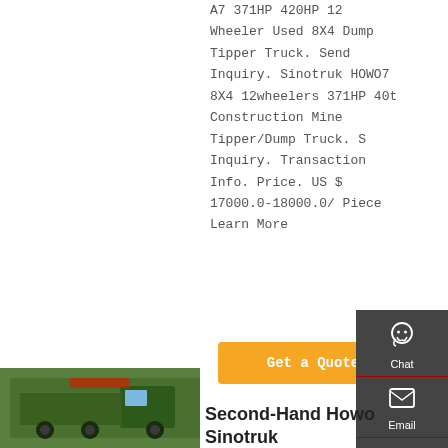A7 371HP 420HP 12 Wheeler Used 8X4 Dump Tipper Truck. Send Inquiry. Sinotruk HOWO7 8X4 12wheelers 371HP 40t Construction Mine Tipper/Dump Truck. Send Inquiry. Transaction Info. Price. US $ 17000.0-18000.0/ Piece Learn More
Get a Quote
[Figure (photo): Green Sinotruk Howo truck cab photo]
Second-Hand Howo Sinotruk